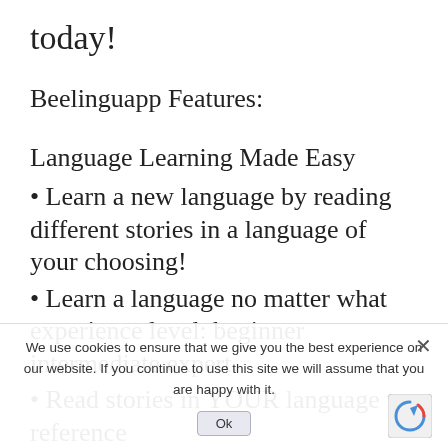today!
Beelinguapp Features:
Language Learning Made Easy
• Learn a new language by reading different stories in a language of your choosing!
• Learn a language no matter what experience level: beginner intermediate expert.
• Read stories in YOUR language to reference what a word or phrase means
Audio Book Reader
• Spanish French German and more languages on
We use cookies to ensure that we give you the best experience on our website. If you continue to use this site we will assume that you are happy with it.